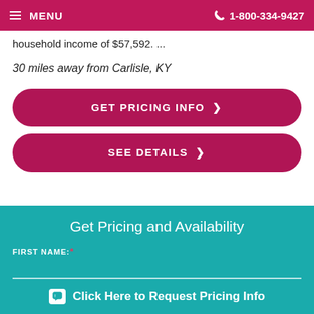MENU  1-800-334-9427
household income of $57,592. ...
30 miles away from Carlisle, KY
GET PRICING INFO >
SEE DETAILS >
Get Pricing and Availability
FIRST NAME:*
Click Here to Request Pricing Info